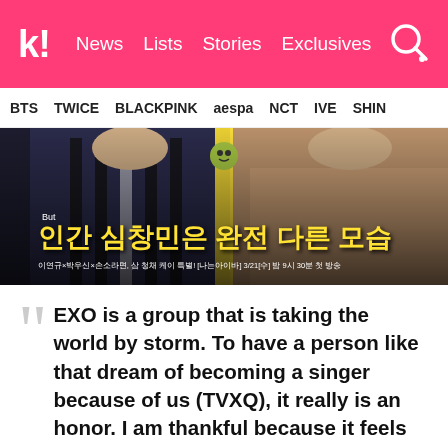k! News Lists Stories Exclusives
BTS TWICE BLACKPINK aespa NCT IVE SHINE
[Figure (photo): Screenshot from a Korean TV show featuring two male celebrities (EXO/TVXQ members) with Korean text overlay reading 인간 심창민은 완전 다른 모습 (Human Shim Changmin is a completely different person) in yellow, with subtitle text below.]
EXO is a group that is taking the world by storm. To have a person like that dream of becoming a singer because of us (TVXQ), it really is an honor. I am thankful because it feels like I helped a young man find his dream.
Changmin